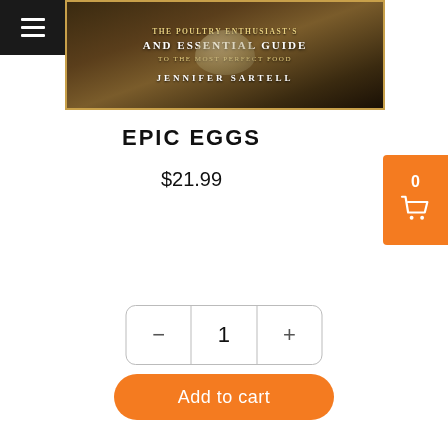[Figure (photo): Book cover of Epic Eggs by Jennifer Sartell, showing text 'THE POULTRY ENTHUSIAST AND ESSENTIAL GUIDE TO THE MOST PERFECT FOOD' and 'JENNIFER SARTELL' on a dark brown background with an egg image]
EPIC EGGS
$21.99
1
Add to cart